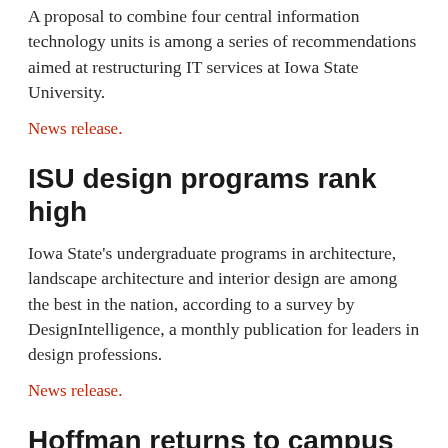A proposal to combine four central information technology units is among a series of recommendations aimed at restructuring IT services at Iowa State University.
News release.
ISU design programs rank high
Iowa State's undergraduate programs in architecture, landscape architecture and interior design are among the best in the nation, according to a survey by DesignIntelligence, a monthly publication for leaders in design professions.
News release.
Hoffman returns to campus for Jan. 22 talk
University of Colorado president and former ISU dean Elizabeth Hoffman returns to campus Jan. 22 for a talk…